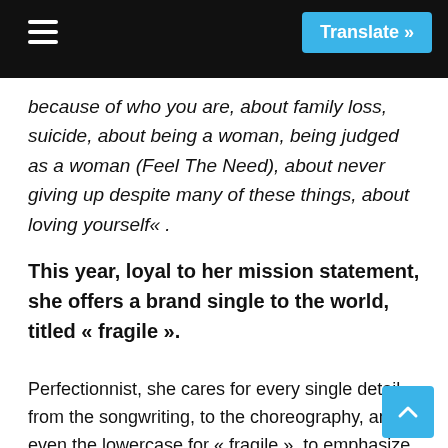Translate »
because of who you are, about family loss, suicide, about being a woman, being judged as a woman (Feel The Need), about never giving up despite many of these things, about loving yourself« .
This year, loyal to her mission statement, she offers a brand single to the world, titled « fragile ».
Perfectionnist, she cares for every single detail, from the songwriting, to the choreography, and even the lowercase for « fragile », to emphasize the idea of weakness and vulnerability.